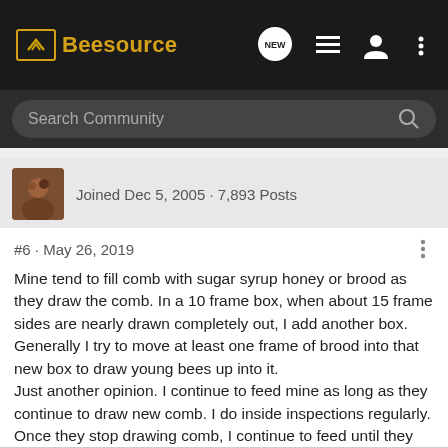Beesource
Search Community
Joined Dec 5, 2005 · 7,893 Posts
#6 · May 26, 2019
Mine tend to fill comb with sugar syrup honey or brood as they draw the comb. In a 10 frame box, when about 15 frame sides are nearly drawn completely out, I add another box. Generally I try to move at least one frame of brood into that new box to draw young bees up into it.
Just another opinion. I continue to feed mine as long as they continue to draw new comb. I do inside inspections regularly. Once they stop drawing comb, I continue to feed until they have stored what I believe is enough to get them through winter.